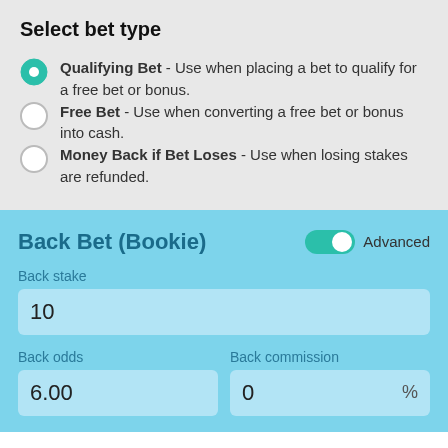Select bet type
Qualifying Bet - Use when placing a bet to qualify for a free bet or bonus.
Free Bet - Use when converting a free bet or bonus into cash.
Money Back if Bet Loses - Use when losing stakes are refunded.
Back Bet (Bookie)
Advanced
Back stake
10
Back odds
6.00
Back commission
0 %